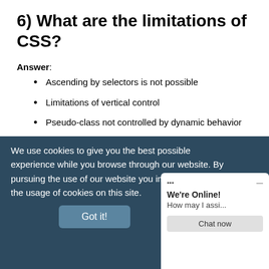6) What are the limitations of CSS?
Answer:
Ascending by selectors is not possible
Limitations of vertical control
Pseudo-class not controlled by dynamic behavior
No expressions
No column declaration
Rules, styles, targeting specific text not possible
We use cookies to give you the best possible experience while you browse through our website. By pursuing the use of our website you implicitly agree to the usage of cookies on this site.
Got it!
7) What are the CSS frameworks?
Answer:
CSS frameworks are the...
easy and more standard...
We're Online! How may I assi...
Chat now